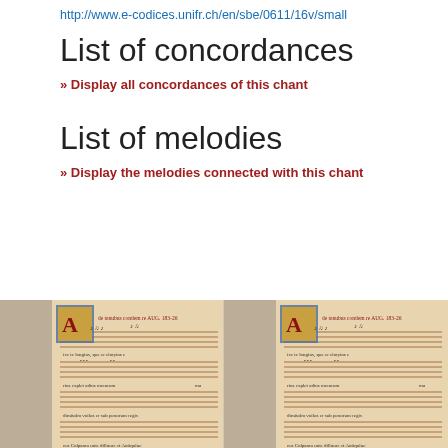http://www.e-codices.unifr.ch/en/sbe/0611/16v/small
List of concordances
» Display all concordances of this chant
List of melodies
» Display the melodies connected with this chant
[Figure (photo): Medieval illuminated manuscript page showing musical notation (neumes) on staff lines with red and black ink, decorative illuminated initial letters, repeated twice side by side]